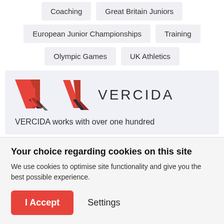Coaching
Great Britain Juniors
European Junior Championships
Training
Olympic Games
UK Athletics
[Figure (logo): VERCIDA logo with red V arrow icon and VERCIDA wordmark]
VERCIDA works with over one hundred
Your choice regarding cookies on this site
We use cookies to optimise site functionality and give you the best possible experience.
I Accept
Settings